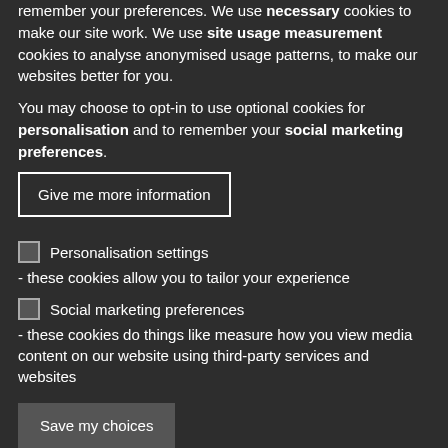remember your preferences. We use necessary cookies to make our site work. We use site usage measurement cookies to analyse anonymised usage patterns, to make our websites better for you.
You may choose to opt-in to use optional cookies for personalisation and to remember your social marketing preferences.
Give me more information
Personalisation settings - these cookies allow you to tailor your experience
Social marketing preferences - these cookies do things like measure how you view media content on our website using third-party services and websites
Save my choices